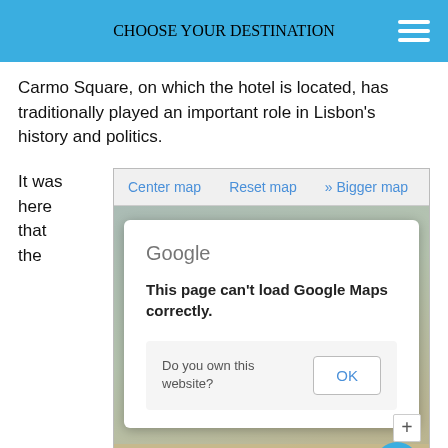CHOOSE YOUR DESTINATION
Carmo Square, on which the hotel is located, has traditionally played an important role in Lisbon’s history and politics.
It was here that the
[Figure (screenshot): Screenshot of a Google Maps embed with a Google error dialog reading 'This page can’t load Google Maps correctly.' with an OK button. Map controls show: Center map, Reset map, » Bigger map. Bottom of map shows partial street labels: eixe, Trindad-, Cha, purposes only, For developm-.]